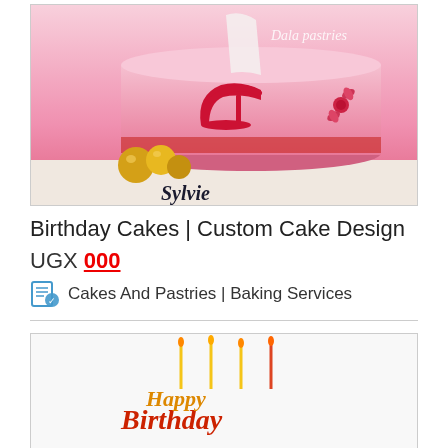[Figure (photo): Photo of a pink birthday cake with red glittery high heel shoes decoration, gold spheres, red checkered ribbon, a red flower, and 'Dala pastries' watermark text. The bottom shows partial text reading 'Sylvie'.]
Birthday Cakes | Custom Cake Design
UGX 000
Cakes And Pastries | Baking Services
[Figure (photo): Photo of a birthday cake with colorful 'Happy Birthday' candle topper decoration in red, yellow, and orange colors on a white background.]